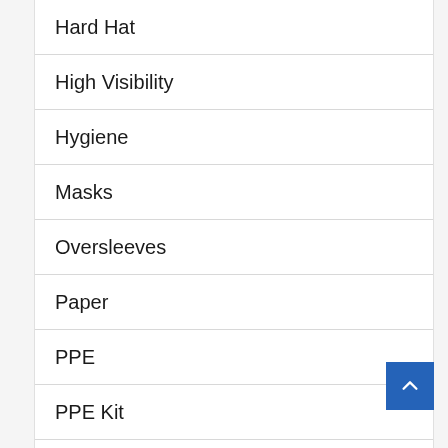Hard Hat
High Visibility
Hygiene
Masks
Oversleeves
Paper
PPE
PPE Kit
Safety Eyewear